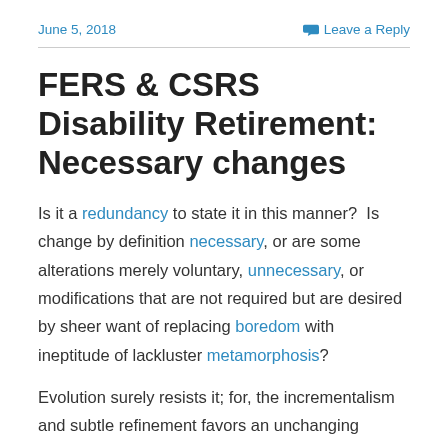June 5, 2018   Leave a Reply
FERS & CSRS Disability Retirement: Necessary changes
Is it a redundancy to state it in this manner?  Is change by definition necessary, or are some alterations merely voluntary, unnecessary, or modifications that are not required but are desired by sheer want of replacing boredom with ineptitude of lackluster metamorphosis?
Evolution surely resists it; for, the incrementalism and subtle refinement favors an unchanging universe, and we see that in the natural world, where an anomaly or